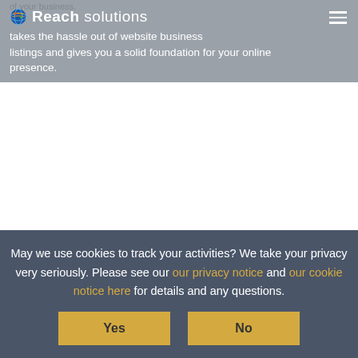Reach solutions — takes the hassle out of website business listings and gives you a solid foundation for your online presence.
May we use cookies to track your activities? We take your privacy very seriously. Please see our our privacy notice and our cookie notice here for details and any questions.